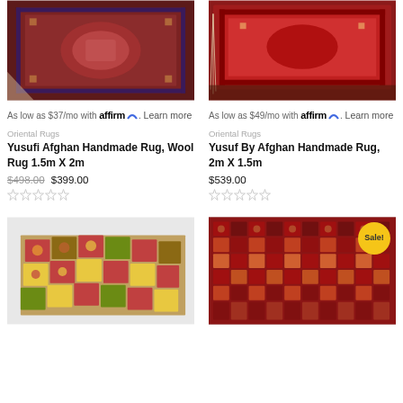[Figure (photo): Afghan handmade rug with dark red/maroon geometric pattern, top-left product]
[Figure (photo): Afghan handmade rug with red geometric pattern and fringe, top-right product]
As low as $37/mo with affirm. Learn more
As low as $49/mo with affirm. Learn more
Oriental Rugs
Oriental Rugs
Yusufi Afghan Handmade Rug, Wool Rug 1.5m X 2m
Yusuf By Afghan Handmade Rug, 2m X 1.5m
$498.00 $399.00
$539.00
[Figure (photo): Colorful patchwork Afghan rug with square motifs in red, yellow, green]
[Figure (photo): Dark red/maroon Afghan rug with dense geometric all-over pattern, with Sale! badge]